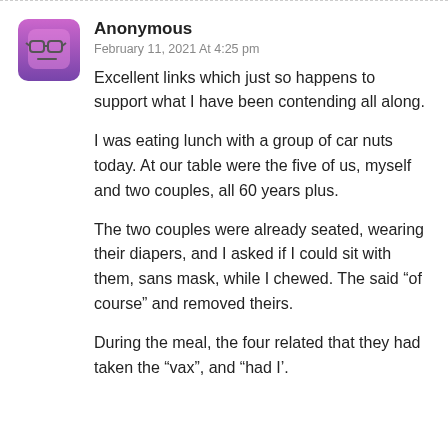[Figure (illustration): Purple/pink avatar icon showing a cartoon face with glasses and neutral expression on a rounded square background]
Anonymous
February 11, 2021 At 4:25 pm
Excellent links which just so happens to support what I have been contending all along.
I was eating lunch with a group of car nuts today. At our table were the five of us, myself and two couples, all 60 years plus.
The two couples were already seated, wearing their diapers, and I asked if I could sit with them, sans mask, while I chewed. The said “of course” and removed theirs.
During the meal, the four related that they had taken the “vax”, and “had I’.